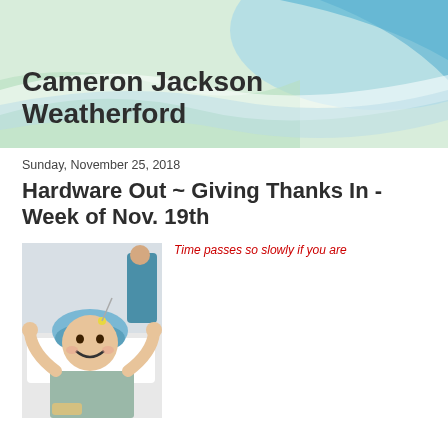Cameron Jackson Weatherford
Sunday, November 25, 2018
Hardware Out ~ Giving Thanks In - Week of Nov. 19th
[Figure (photo): Child in hospital bed wearing a blue surgical cap, smiling and raising arms, in a hospital gown]
Time passes so slowly if you are